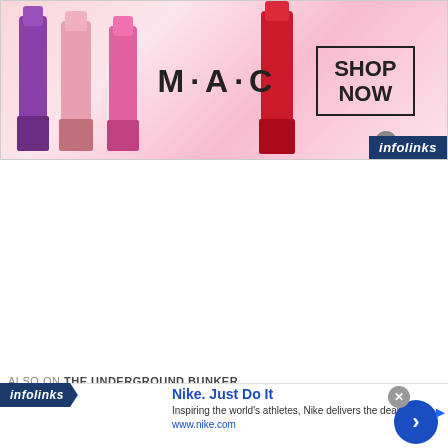[Figure (screenshot): MAC Cosmetics advertisement banner with lipsticks on pink background, MAC logo, and SHOP NOW button]
infolinks
ALSO ON THE UNDERGROUND BUNKER
infolinks
[Figure (screenshot): Nike advertisement: Nike. Just Do It. Inspiring the world's athletes, Nike delivers the deals. www.nike.com]
Nike. Just Do It
Inspiring the world's athletes, Nike delivers the deals
www.nike.com